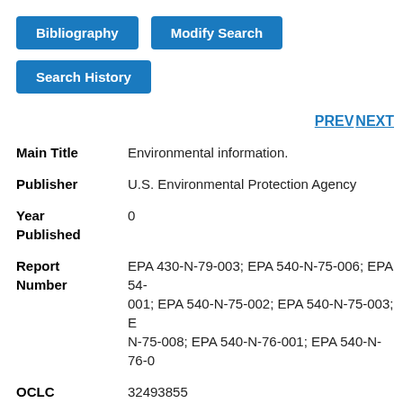Bibliography
Modify Search
Search History
PREV NEXT
| Field | Value |
| --- | --- |
| Main Title | Environmental information. |
| Publisher | U.S. Environmental Protection Agency |
| Year Published | 0 |
| Report Number | EPA 430-N-79-003; EPA 540-N-75-006; EPA 54- 001; EPA 540-N-75-002; EPA 540-N-75-003; E- N-75-008; EPA 540-N-76-001; EPA 540-N-76-0 |
| OCLC | 32493855 |